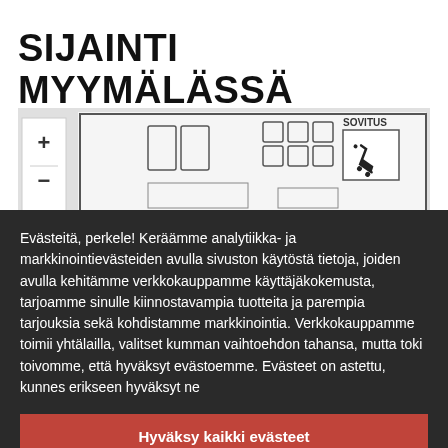SIJAINTI MYYMÄLÄSSÄ
[Figure (map): Store floor plan map with zoom controls (+/-), shelving units, fitting room (SOVITUS), and a shopping cart icon on a light grey background.]
Evästeitä, perkele! Keräämme analytiikka- ja markkinointievästeiden avulla sivuston käytöstä tietoja, joiden avulla kehitämme verkkokauppamme käyttäjäkokemusta, tarjoamme sinulle kiinnostavampia tuotteita ja parempia tarjouksia sekä kohdistamme markkinointia. Verkkokauppamme toimii yhtälailla, valitset kumman vaihtoehdon tahansa, mutta toki toivomme, että hyväksyt evästoemme. Evästeet on astettu, kunnes erikseen hyväksyt ne
Hyväksy kaikki evästeet
Hyväksy vain välttämättömät evästeet